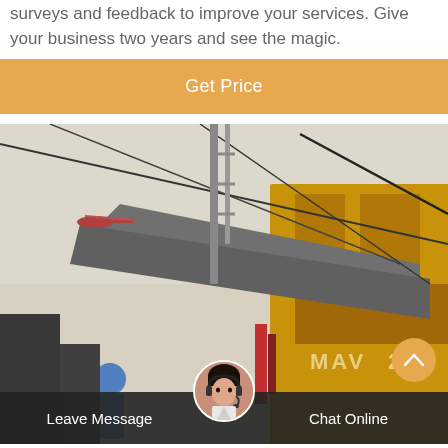surveys and feedback to improve your services. Give your business two years and see the magic.
[Figure (other): Orange button labeled 'Get Price']
[Figure (photo): Industrial construction scene with yellow heavy machinery, cables, a worker in blue helmet, and a helicopter in background sky]
Leave Message
Chat Online